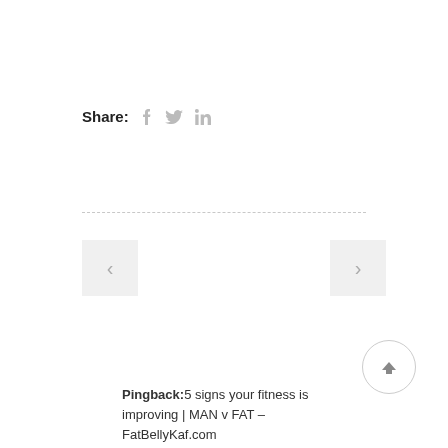Share: f y in
< >
Pingback:5 signs your fitness is improving | MAN v FAT – FatBellyKaf.com